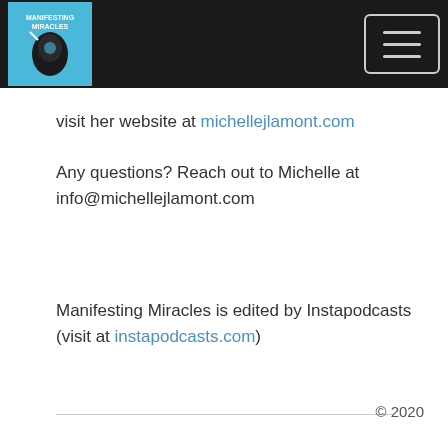Manifesting Miracles podcast logo and navigation menu
Visit her website at michellejlamont.com
Any questions? Reach out to Michelle at info@michellejlamont.com
Manifesting Miracles is edited by Instapodcasts (visit at instapodcasts.com)
© 2020